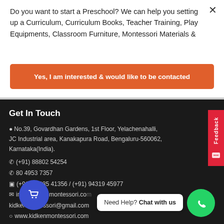Do you want to start a Preschool? We can help you setting up a Curriculum, Curriculum Books, Teacher Training, Play Equipments, Classroom Furniture, Montessori Materials &
Yes, I am interested & would like to be contacted
Get In Touch
No.39, Govardhan Gardens, 1st Floor, Yelachenahalli, JC Industrial area, Kanakapura Road, Bengaluru-560062, Karnataka(India).
(+91) 88802 54254
(+91) 80 4953 7357
(+91) 90085 41356 / (+91) 94319 45977
info@kidkenmontessori.com kidkenmontessori@gmail.com
www.kidkenmontessori.com
Need Help? Chat with us